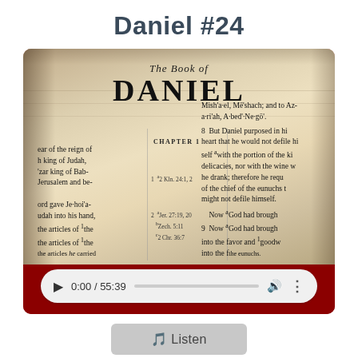Daniel #24
[Figure (photo): Open Bible showing The Book of Daniel, Chapter 1, with visible text including passages about the reign of Judah, Daniel purposed in his heart, God had brought favor. An audio player showing 0:00 / 55:39 is overlaid at the bottom of the image.]
🎵 Listen